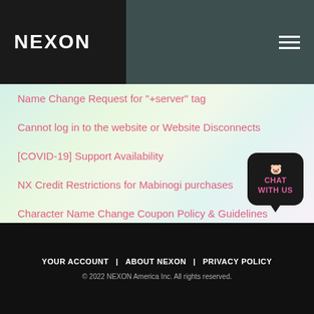NEXON
Name Change Request for "+server" tag
Cannot log in to the website or Website Disconnects
[COVID-19] Support Availability
NX Credit Restrictions for Mabinogi purchases
Character Name Change Coupon Policy & Guidelines
[Figure (illustration): Chat with us button - black rounded rectangle with pig icon and pink CHAT WITH US text with speech bubble tail]
YOUR ACCOUNT | ABOUT NEXON | PRIVACY POLICY
© 2022 NEXON America Inc. All rights reserved.